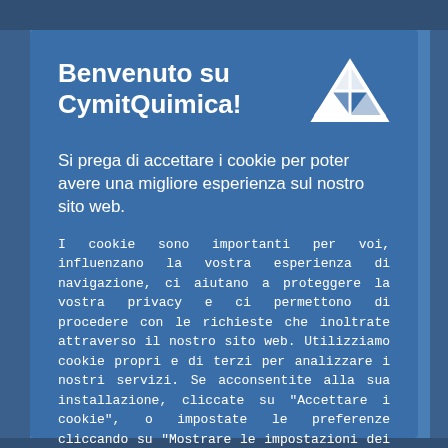Benvenuto su CymitQuimica!
Si prega di accettare i cookie per poter avere una migliore esperienza sul nostro sito web.
I cookie sono importanti per voi, influenzano la vostra esperienza di navigazione, ci aiutano a proteggere la vostra privacy e ci permettono di procedere con le richieste che inoltrate attraverso il nostro sito web. Utilizziamo cookie propri e di terzi per analizzare i nostri servizi. Se acconsentite alla sua installazione, cliccate su "Accettare i cookie", o impostate le preferenze cliccando su "Mostrare le impostazioni dei cookie". Altre informazioni sono disponibili nella nostra informativa sui cookies.
[Figure (logo): CymitQuimica logo - white triangular/pyramid shape]
Accettare i cookie